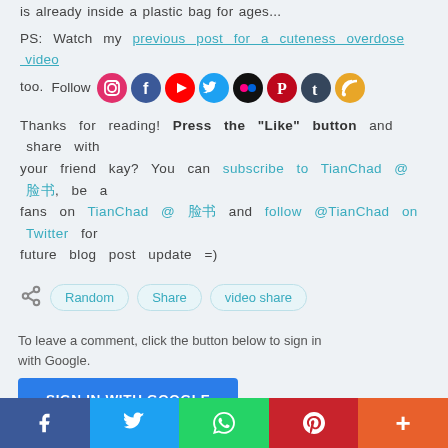is already inside a plastic bag for ages...
PS: Watch my previous post for a cuteness overdose video too.
Follow [social icons]
Thanks for reading! Press the "Like" button and share with your friend kay? You can subscribe to TianChad @ 脸书, be a fans on TianChad @ 脸书 and follow @TianChad on Twitter for future blog post update =)
Random  Share  video share
To leave a comment, click the button below to sign in with Google.
SIGN IN WITH GOOGLE
f  Twitter  WhatsApp  Pinterest  More